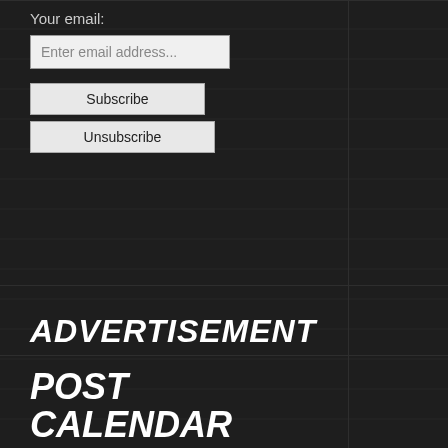Your email:
Enter email address...
Subscribe
Unsubscribe
ADVERTISEMENT
POST CALENDAR
august 2022
M T W T F S S